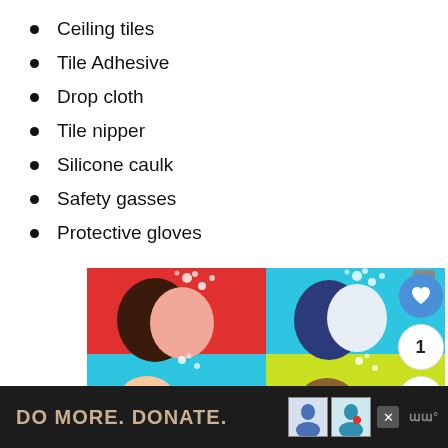Ceiling tiles
Tile Adhesive
Drop cloth
Tile nipper
Silicone caulk
Safety gasses
Protective gloves
[Figure (illustration): Colorful hand-washing instructional graphic with four quadrants: red, cyan, red, yellow-green, showing illustrated hands washing with soap bubbles, with text 'Wash' and 'You' visible]
[Figure (infographic): Bottom advertisement banner: dark background with text 'DO MORE. DONATE.' and thumbnail images of people, plus a close button and MW logo]